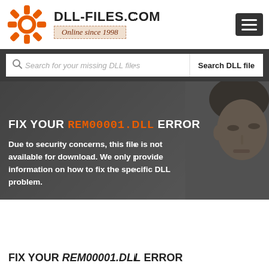[Figure (logo): DLL-FILES.COM logo with orange gear/asterisk icon, site title and 'Online since 1998' tagline, plus hamburger menu button]
Search for your missing DLL files
FIX YOUR REM00001.DLL ERROR
Due to security concerns, this file is not available for download. We only provide information on how to fix the specific DLL problem.
FIX YOUR REM00001.DLL ERROR